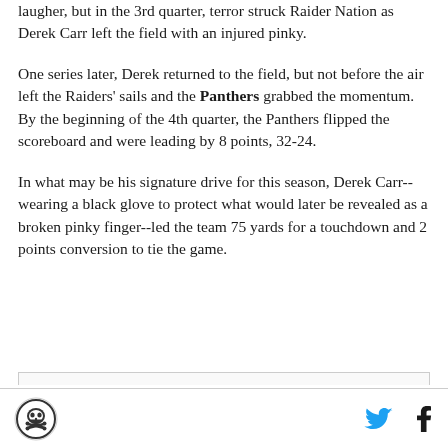laugher, but in the 3rd quarter, terror struck Raider Nation as Derek Carr left the field with an injured pinky.
One series later, Derek returned to the field, but not before the air left the Raiders' sails and the Panthers grabbed the momentum. By the beginning of the 4th quarter, the Panthers flipped the scoreboard and were leading by 8 points, 32-24.
In what may be his signature drive for this season, Derek Carr--wearing a black glove to protect what would later be revealed as a broken pinky finger--led the team 75 yards for a touchdown and 2 points conversion to tie the game.
Logo | Twitter | Facebook